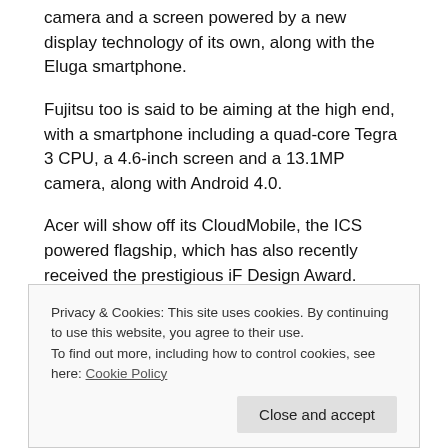camera and a screen powered by a new display technology of its own, along with the Eluga smartphone.
Fujitsu too is said to be aiming at the high end, with a smartphone including a quad-core Tegra 3 CPU, a 4.6-inch screen and a 13.1MP camera, along with Android 4.0.
Acer will show off its CloudMobile, the ICS powered flagship, which has also recently received the prestigious iF Design Award.
Asus too is expected to unveil its EEE Padfone Tablet/Phone
Privacy & Cookies: This site uses cookies. By continuing to use this website, you agree to their use.
To find out more, including how to control cookies, see here: Cookie Policy
Close and accept